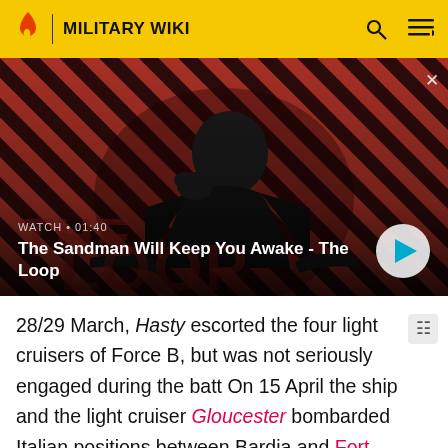MILITARY WIKI
[Figure (screenshot): Video thumbnail showing a dark-caped figure with a raven on shoulder against a red and black diagonal stripe background. Shows 'The Loop' title branding. Overlay text: WATCH • 01:40 / The Sandman Will Keep You Awake - The Loop. Play button visible bottom right.]
28/29 March, Hasty escorted the four light cruisers of Force B, but was not seriously engaged during the batt On 15 April the ship and the light cruiser Gloucester bombarded Italian positions between Bardia and Fort Capuzzo. In mid-April she escorted the fast transport